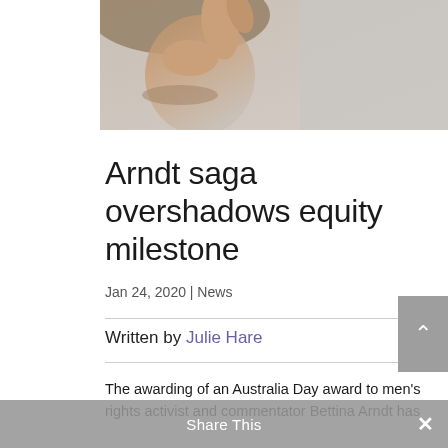[Figure (photo): Close-up photo of a person's hand pointing, with a blurred background in warm and grey tones.]
Arndt saga overshadows equity milestone
Jan 24, 2020 | News
Written by Julie Hare
The awarding of an Australia Day award to men's rights activist and commentator Bettina Arndt has